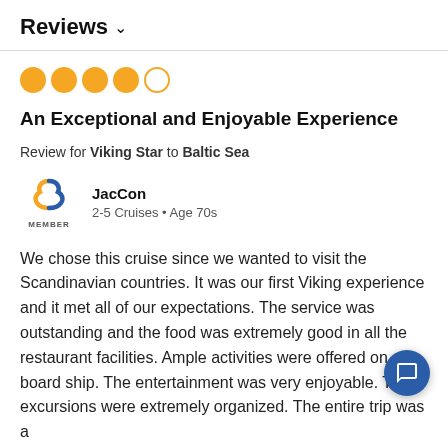Reviews ∨
[Figure (other): 4 filled orange circles and 1 empty orange circle representing a 4 out of 5 star rating]
An Exceptional and Enjoyable Experience
Review for Viking Star to Baltic Sea
[Figure (logo): Cruise Critic member badge icon with orange and blue swirl logo and MEMBER text below]
JacCon
2-5 Cruises • Age 70s
We chose this cruise since we wanted to visit the Scandinavian countries. It was our first Viking experience and it met all of our expectations. The service was outstanding and the food was extremely good in all the restaurant facilities. Ample activities were offered on board ship. The entertainment was very enjoyable. The excursions were extremely organized. The entire trip was a